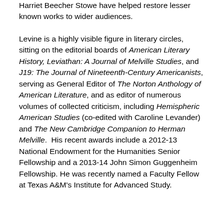Harriet Beecher Stowe have helped restore lesser known works to wider audiences.
Levine is a highly visible figure in literary circles, sitting on the editorial boards of American Literary History, Leviathan: A Journal of Melville Studies, and J19: The Journal of Nineteenth-Century Americanists, serving as General Editor of The Norton Anthology of American Literature, and as editor of numerous volumes of collected criticism, including Hemispheric American Studies (co-edited with Caroline Levander) and The New Cambridge Companion to Herman Melville.  His recent awards include a 2012-13 National Endowment for the Humanities Senior Fellowship and a 2013-14 John Simon Guggenheim Fellowship. He was recently named a Faculty Fellow at Texas A&M's Institute for Advanced Study.